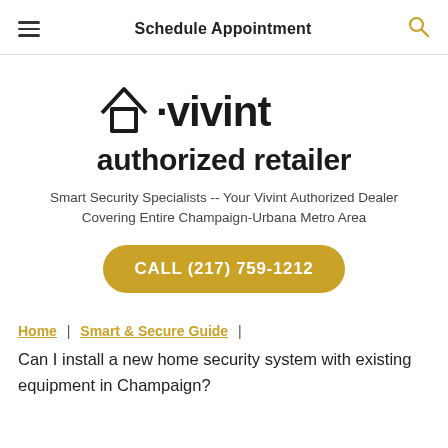Schedule Appointment
[Figure (logo): Vivint authorized retailer logo with house icon and dot before vivint text]
Smart Security Specialists -- Your Vivint Authorized Dealer Covering Entire Champaign-Urbana Metro Area
CALL (217) 759-1212
Home | Smart & Secure Guide |
Can I install a new home security system with existing equipment in Champaign?